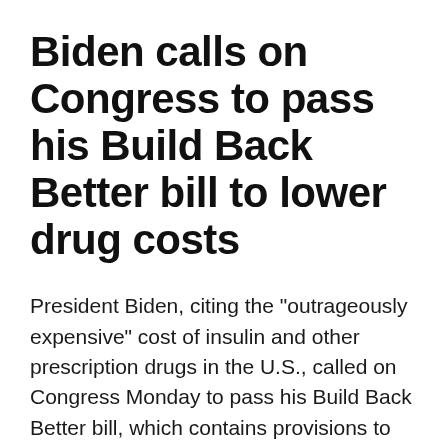Biden calls on Congress to pass his Build Back Better bill to lower drug costs
President Biden, citing the "outrageously expensive" cost of insulin and other prescription drugs in the U.S., called on Congress Monday to pass his Build Back Better bill, which contains provisions to lower drug prices.
In brief remarks at the White House, the president pointed to the cost of insulin needed to treat Type 1 diabetes, which Biden says affects some 1.5